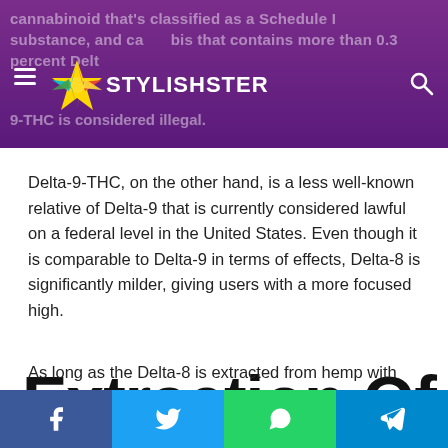cannabinoid that's classified as a Schedule I substance, and cannabis that contains more than 0.3 percent Delta-9-THC is considered illegal.
[Figure (logo): Stylishster logo with colorful star icon and white text on purple header bar]
Delta-9-THC, on the other hand, is a less well-known relative of Delta-9 that is currently considered lawful on a federal level in the United States. Even though it is comparable to Delta-9 in terms of effects, Delta-8 is significantly milder, giving users with a more focused high.
Extraction Of Delta 8
As long as the Delta-8 is extracted from hemp with less than